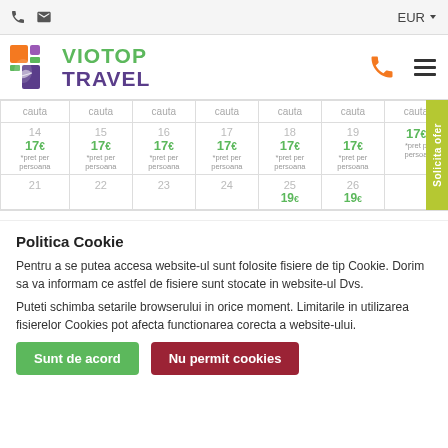EUR  ☎  ✉
[Figure (logo): Viotop Travel logo with colorful squares and leaf icon, green VIOTOP and purple TRAVEL text]
| cauta | cauta | cauta | cauta | cauta | cauta | cauta |
| --- | --- | --- | --- | --- | --- | --- |
| 14
17€
*pret per persoana | 15
17€
*pret per persoana | 16
17€
*pret per persoana | 17
17€
*pret per persoana | 18
17€
*pret per persoana | 19
17€
*pret per persoana | 17€
*pret per persoana |
| 21 | 22 | 23 | 24 | 25
19€ | 26
19€ |  |
Politica Cookie
Pentru a se putea accesa website-ul sunt folosite fisiere de tip Cookie. Dorim sa va informam ce astfel de fisiere sunt stocate in website-ul Dvs.
Puteti schimba setarile browserului in orice moment. Limitarile in utilizarea fisierelor Cookies pot afecta functionarea corecta a website-ului.
Sunt de acord
Nu permit cookies